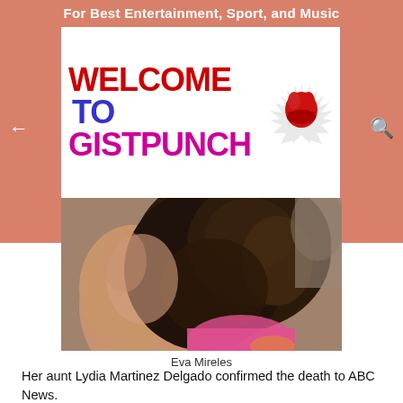For Best Entertainment, Sport, and Music
[Figure (logo): GistPunch website logo banner: text reading WELCOME TO GISTPUNCH with a boxing glove icon]
[Figure (photo): Photo of Eva Mireles, showing a person with curly dark hair from behind, wearing a pink top, outdoors]
Eva Mireles
Her aunt Lydia Martinez Delgado confirmed the death to ABC News.